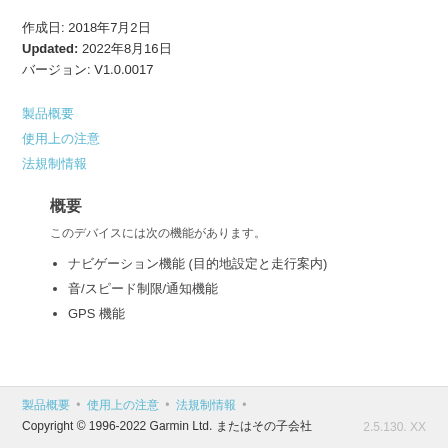作成日: 2018年7月2日
Updated: 2022年8月16日
バージョン: V1.0.0017
製品概要
使用上の注意
法規制情報
概要
このデバイスには次の機能があります。
ナビゲーション機能 (目的地設定と走行案内)
音/スピード制限/通知機能
GPS 機能
製品概要 • 使用上の注意 • 法規制情報 • Copyright © 1996-2022 Garmin Ltd. またはその子会社 2.5.130. XX